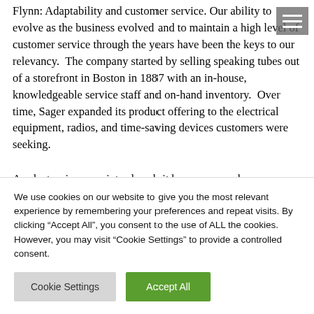Flynn: Adaptability and customer service. Our ability to evolve as the business evolved and to maintain a high level of customer service through the years have been the keys to our relevancy.  The company started by selling speaking tubes out of a storefront in Boston in 1887 with an in-house, knowledgeable service staff and on-hand inventory.  Over time, Sager expanded its product offering to the electrical equipment, radios, and time-saving devices customers were seeking.

As electronics were introduced, it became a much more important part of the Sager line and the company...
We use cookies on our website to give you the most relevant experience by remembering your preferences and repeat visits. By clicking “Accept All”, you consent to the use of ALL the cookies. However, you may visit "Cookie Settings" to provide a controlled consent.